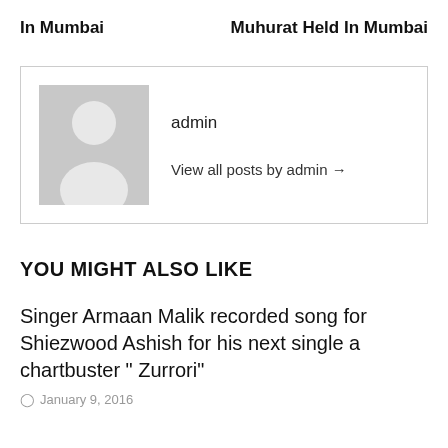In Mumbai
Muhurat Held In Mumbai
[Figure (illustration): Author avatar placeholder showing a grey silhouette of a person on a grey background]
admin
View all posts by admin →
YOU MIGHT ALSO LIKE
Singer Armaan Malik recorded song for Shiezwood Ashish for his next single a chartbuster " Zurrori"
January 9, 2016